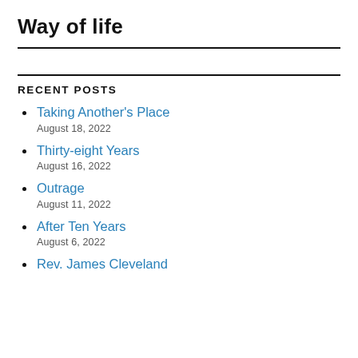Way of life
RECENT POSTS
Taking Another's Place
August 18, 2022
Thirty-eight Years
August 16, 2022
Outrage
August 11, 2022
After Ten Years
August 6, 2022
Rev. James Cleveland